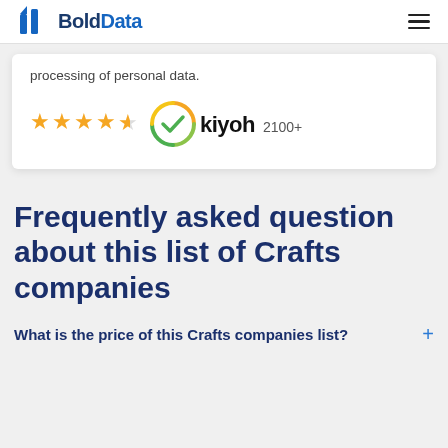BoldData
processing of personal data.
[Figure (logo): Kiyoh review badge with 4.5 gold stars and checkmark logo, with text 'kiyoh 2100+']
Frequently asked question about this list of Crafts companies
What is the price of this Crafts companies list? +